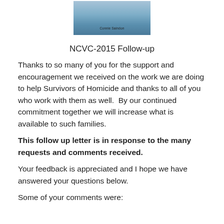[Figure (photo): Partial view of a book cover with blue tones and the text 'Connie Saindon' visible at the bottom]
NCVC-2015 Follow-up
Thanks to so many of you for the support and encouragement we received on the work we are doing to help Survivors of Homicide and thanks to all of you who work with them as well.  By our continued commitment together we will increase what is available to such families.
This follow up letter is in response to the many requests and comments received.
Your feedback is appreciated and I hope we have answered your questions below.
Some of your comments were: